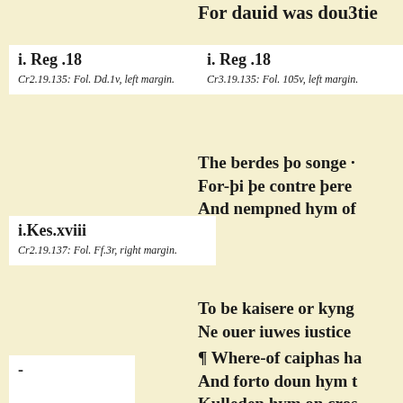For dauid was dou3tie
i. Reg .18
i. Reg .18
Cr2.19.135: Fol. Dd.1v, left margin.
Cr3.19.135: Fol. 105v, left margin.
The berdes þo songe · For-þi þe contre þere And nempned hym of
i.Kes.xviii
Cr2.19.137: Fol. Ff.3r, right margin.
To be kaisere or kyng Ne ouer iuwes iustice
¶ Where-of caiphas ha And forto doun hym t Kulleden hym on cros
-
C.19.142: Hand X, fol. 28r, left